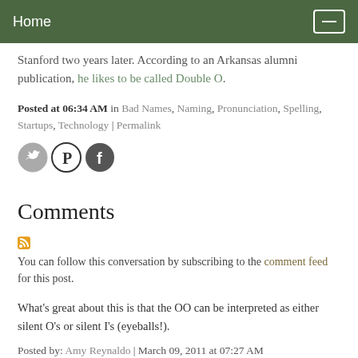Home
Stanford two years later. According to an Arkansas alumni publication, he likes to be called Double O.
Posted at 06:34 AM in Bad Names, Naming, Pronunciation, Spelling, Startups, Technology | Permalink
[Figure (other): Social media share icons: Twitter, Pinterest, Facebook]
Comments
You can follow this conversation by subscribing to the comment feed for this post.
What's great about this is that the OO can be interpreted as either silent O's or silent I's (eyeballs!).
Posted by: Amy Reynaldo | March 09, 2011 at 07:27 AM
I think it's pronounced "T.J. Eckleburg."